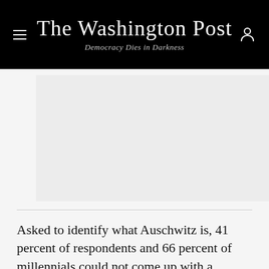The Washington Post
Democracy Dies in Darkness
[Figure (other): Gray advertisement placeholder rectangle]
Asked to identify what Auschwitz is, 41 percent of respondents and 66 percent of millennials could not come up with a correct response identifying it as a concentration camp or extermination camp. The U.S. Holocaust Memorial Museum savs that at least 1.3